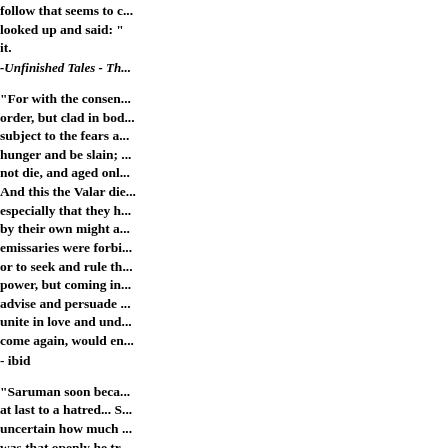follow that seems to c... looked up and said: "... it.
-Unfinished Tales - Th...
"For with the consen... order, but clad in bod... subject to the fears a... hunger and be slain; ... not die, and aged onl... And this the Valar di... especially that they h... by their own might a... emissaries were forbi... or to seek and rule t... power, but coming in... advise and persuade ... unite in love and und... come again, would en...
- ibid
"Saruman soon beca... at last to a hatred... S... uncertain how much ... was that openly he tr... others of the Wise... "...
- Unfinished Tales, Th...
***************...